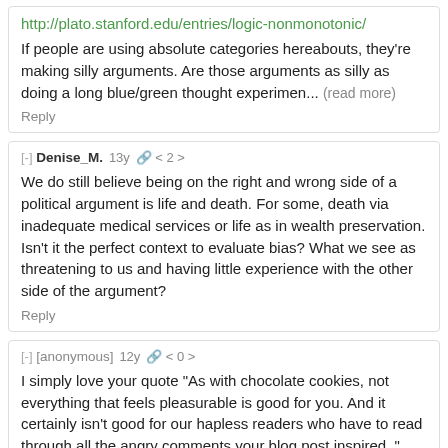http://plato.stanford.edu/entries/logic-nonmonotonic/
If people are using absolute categories hereabouts, they're making silly arguments. Are those arguments as silly as doing a long blue/green thought experimen... (read more)
Reply
[-] Denise_M.  13y  < 2 >
We do still believe being on the right and wrong side of a political argument is life and death. For some, death via inadequate medical services or life as in wealth preservation. Isn't it the perfect context to evaluate bias? What we see as threatening to us and having little experience with the other side of the argument?
Reply
[-] [anonymous]  12y  < 0 >
I simply love your quote "As with chocolate cookies, not everything that feels pleasurable is good for you. And it certainly isn't good for our hapless readers who have to read through all the angry comments your blog post inspired. "